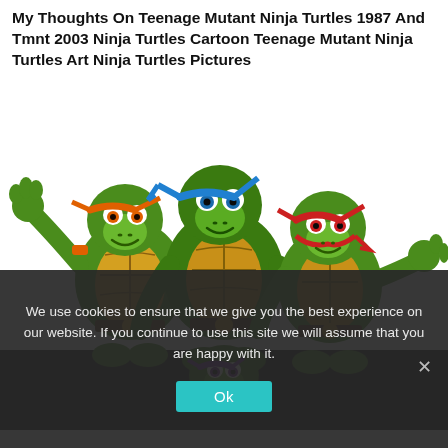My Thoughts On Teenage Mutant Ninja Turtles 1987 And Tmnt 2003 Ninja Turtles Cartoon Teenage Mutant Ninja Turtles Art Ninja Turtles Pictures
[Figure (illustration): Classic cartoon-style illustration of four Teenage Mutant Ninja Turtles (TMNT 1987 version) grouped together. Michelangelo (orange mask) on the left with arms raised, Leonardo (blue mask) in the center back, Raphael (red mask) on the right, and Donatello (purple mask) peeking from the bottom center. All are green humanoid turtles with yellow/tan plastrons and various weapons.]
We use cookies to ensure that we give you the best experience on our website. If you continue to use this site we will assume that you are happy with it.